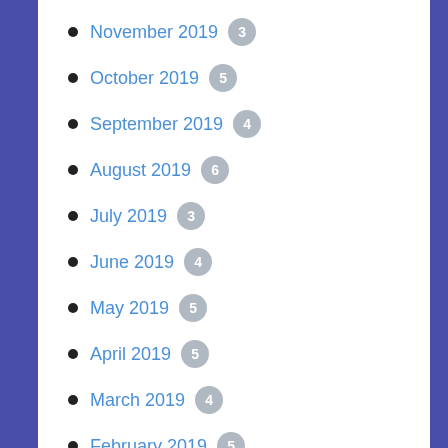November 2019 3
October 2019 5
September 2019 4
August 2019 6
July 2019 3
June 2019 4
May 2019 5
April 2019 5
March 2019 4
February 2019 5
January 2019 2